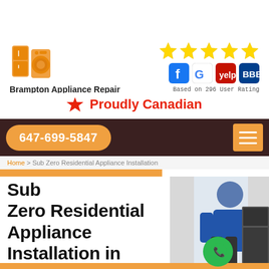[Figure (logo): Brampton Appliance Repair logo icon - orange appliances icon with refrigerator and washing machine]
Brampton Appliance Repair
[Figure (infographic): Five gold star rating icons]
[Figure (infographic): Social media icons: Facebook, Google, Yelp, BBB]
Based on 296 User Rating
🍁 Proudly Canadian
647-699-5847
Home > Sub Zero Residential Appliance Installation
Sub Zero Residential Appliance Installation in Brampton, Ontario
[Figure (photo): Technician in blue uniform working on an appliance]